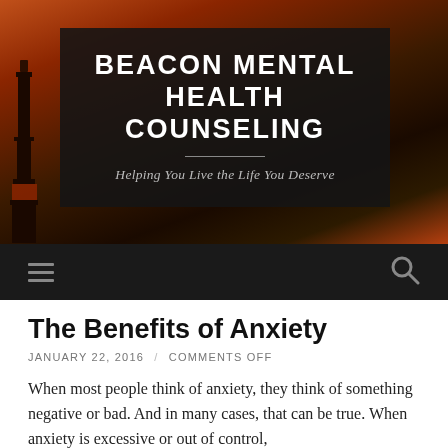[Figure (screenshot): Website header for Beacon Mental Health Counseling. Dark overlay on a sunset/lighthouse background image. Shows site title 'BEACON MENTAL HEALTH COUNSELING' and tagline 'Helping You Live the Life You Deserve'. Below is a dark navigation bar with hamburger menu icon on left and search icon on right.]
The Benefits of Anxiety
JANUARY 22, 2016 / COMMENTS OFF
When most people think of anxiety, they think of something negative or bad. And in many cases, that can be true.  When anxiety is excessive or out of control,